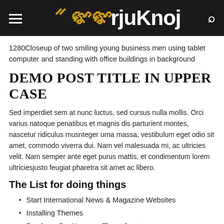HMrjuKnoj
1280Closeup of two smiling young business men using tablet computer and standing with office buildings in background
DEMO POST TITLE IN UPPER CASE
Sed imperdiet sem at nunc luctus, sed cursus nulla mollis. Orci varius natoque penatibus et magnis dis parturient montes, nascetur ridiculus musnteger urna massa, vestibulum eget odio sit amet, commodo viverra dui. Nam vel malesuada mi, ac ultricies velit. Nam semper ante eget purus mattis, et condimentum lorem ultriciesjusto feugiat pharetra sit amet ac libero.
The List for doing things
Start International News & Magazine Websites
Installing Themes
Purchase PenNews on Themeforest